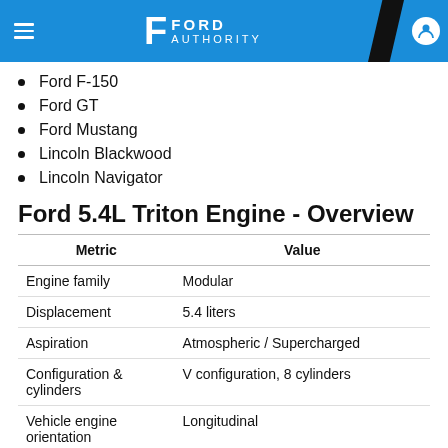Ford Authority
Ford F-150
Ford GT
Ford Mustang
Lincoln Blackwood
Lincoln Navigator
Ford 5.4L Triton Engine - Overview
| Metric | Value |
| --- | --- |
| Engine family | Modular |
| Displacement | 5.4 liters |
| Aspiration | Atmospheric / Supercharged |
| Configuration & cylinders | V configuration, 8 cylinders |
| Vehicle engine orientation | Longitudinal |
| Valve configuration | Single overhead cam (SOHC) / Dual overhead cam (DOHC) |